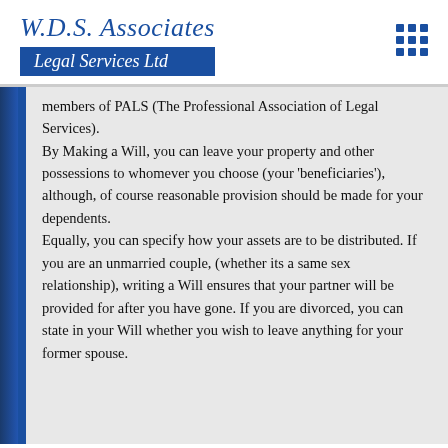W.D.S. Associates Legal Services Ltd
members of PALS (The Professional Association of Legal Services).
By Making a Will, you can leave your property and other possessions to whomever you choose (your 'beneficiaries'), although, of course reasonable provision should be made for your dependents.
Equally, you can specify how your assets are to be distributed. If you are an unmarried couple, (whether its a same sex relationship), writing a Will ensures that your partner will be provided for after you have gone. If you are divorced, you can state in your Will whether you wish to leave anything for your former spouse.